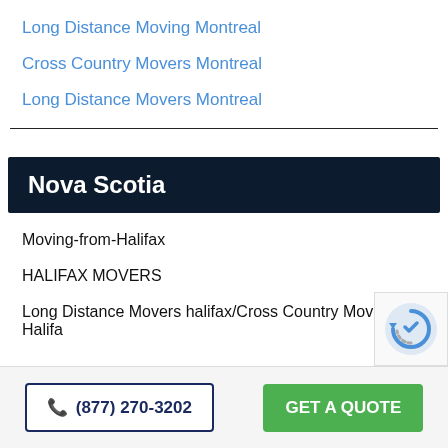Long Distance Moving Montreal
Cross Country Movers Montreal
Long Distance Movers Montreal
Nova Scotia
Moving-from-Halifax
HALIFAX MOVERS
Long Distance Movers halifax/Cross Country Movers Halifa
(877) 270-3202
GET A QUOTE